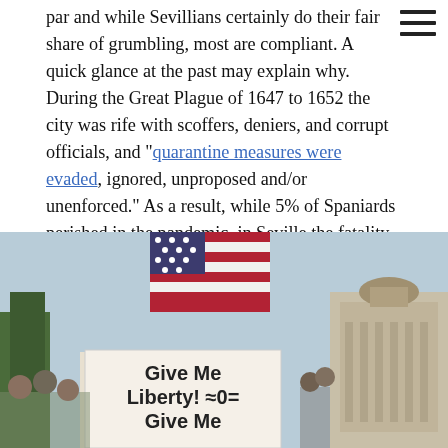par and while Sevillians certainly do their fair share of grumbling, most are compliant. A quick glance at the past may explain why. During the Great Plague of 1647 to 1652 the city was rife with scoffers, deniers, and corrupt officials, and "quarantine measures were evaded, ignored, unproposed and/or unenforced." As a result, while 5% of Spaniards perished in the pandemic, in Seville the fatality rate was 25%.
[Figure (photo): Protest photo showing person holding American flag and a sign reading 'Give Me Liberty! or Give Me...' with a government building visible in the background]